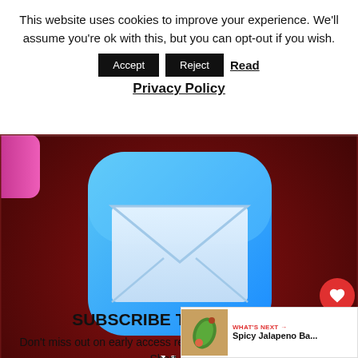This website uses cookies to improve your experience. We'll assume you're ok with this, but you can opt-out if you wish. Accept Reject Read Privacy Policy
[Figure (photo): Close-up photo of an iPhone showing the Apple Mail app icon on a dark red background, with the word 'Mail' below the envelope icon]
SUBSCRIBE TODAY!
Don't miss out on early access re... new posts, & more from The Short Order